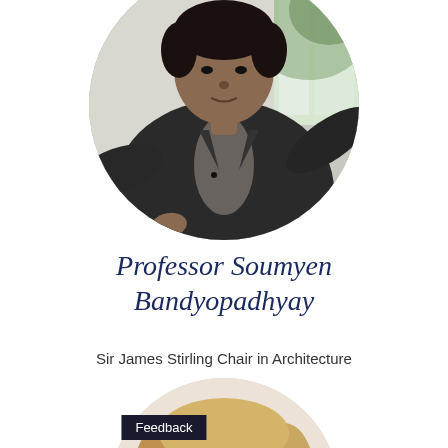[Figure (photo): Circular portrait photo of Professor Soumyen Bandyopadhyay wearing a dark suit jacket, gesturing with hands, background with window and greenery]
Professor Soumyen Bandyopadhyay
Sir James Stirling Chair in Architecture
[Figure (photo): Circular portrait photo of a person with blonde hair, partially visible at bottom of page]
Feedback